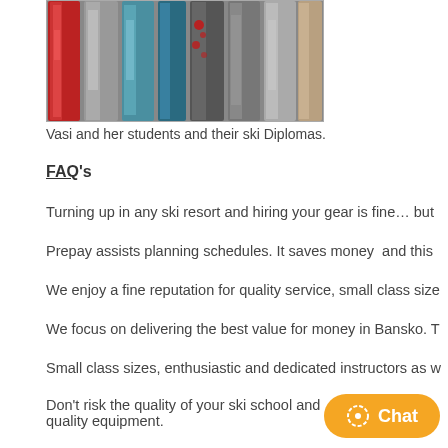[Figure (photo): Several colorful snowboards standing upright leaning against a wall, showing various graphic designs.]
Vasi and her students and their ski Diplomas.
FAQ's
Turning up in any ski resort and hiring your gear is fine… but
Prepay assists planning schedules. It saves money  and this
We enjoy a fine reputation for quality service, small class size
We focus on delivering the best value for money in Bansko. T
Small class sizes, enthusiastic and dedicated instructors as w
Don't risk the quality of your ski school and quality equipment.